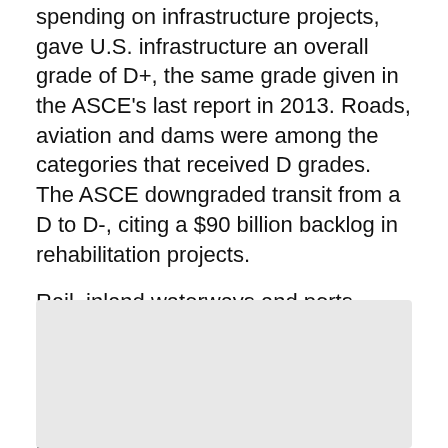spending on infrastructure projects, gave U.S. infrastructure an overall grade of D+, the same grade given in the ASCE's last report in 2013. Roads, aviation and dams were among the categories that received D grades. The ASCE downgraded transit from a D to D-, citing a $90 billion backlog in rehabilitation projects.
Rail, inland waterways and ports improved on their grades from four years ago. Rails, the majority of which are owned by the private freight industry, fared the best with a B. The industry spent $27.1 billion on upgrades in 2015, according to the ASCE.
The ASCE said America's infrastructure as a whole requires $2 trillion in investments.
[Figure (other): Gray rectangular box at the bottom of the page, likely a placeholder for an image or chart.]